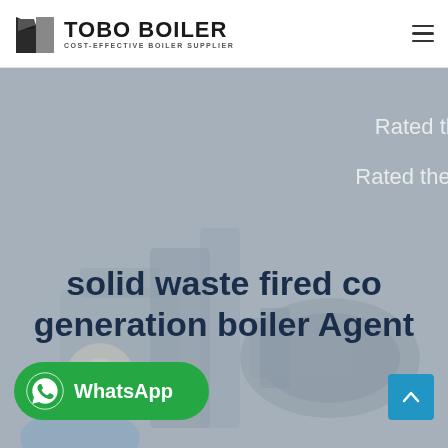[Figure (logo): TOBO BOILER logo with icon on the left and text 'TOBO BOILER / COST-EFFECTIVE BOILER SUPPLIER' on the right]
[Figure (photo): Background hero image of industrial boiler machinery with grey overlay. Partially visible text on right side reads 'Rated th...' and 'Rated ther...']
solid waste fired co generation boiler Agent
[Figure (other): Green WhatsApp button with WhatsApp icon and label 'WhatsApp']
[Figure (other): Blue scroll-to-top button with upward arrow icon]